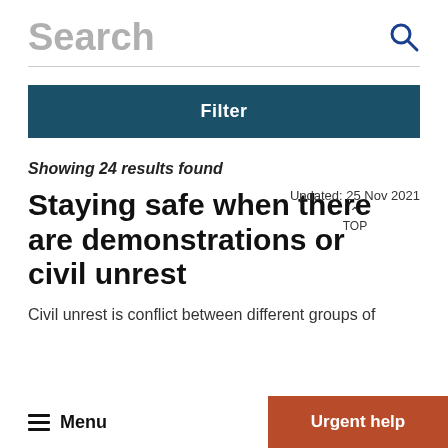Search
Showing 24 results found
Staying safe when there are demonstrations or civil unrest
Updated: 25 Nov 2021
Civil unrest is conflict between different groups of
Menu | Urgent help